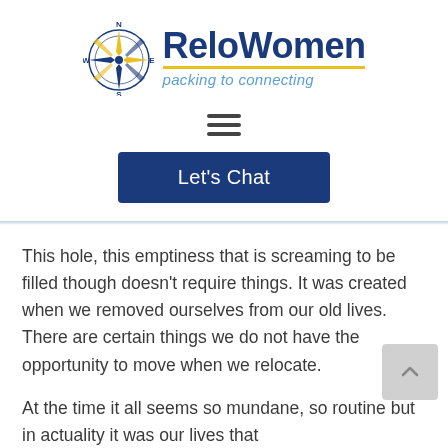[Figure (logo): ReloWomen logo with compass rose icon, bold blue 'ReloWomen' text, gold underline, and blue italic tagline 'packing to connecting']
[Figure (other): Hamburger menu icon (three horizontal lines)]
[Figure (other): Blue 'Let's Chat' button]
This hole, this emptiness that is screaming to be filled though doesn't require things.  It was created when we removed ourselves from our old lives.  There are certain things we do not have the opportunity to move when we relocate.
At the time it all seems so mundane, so routine but in actuality it was our lives that